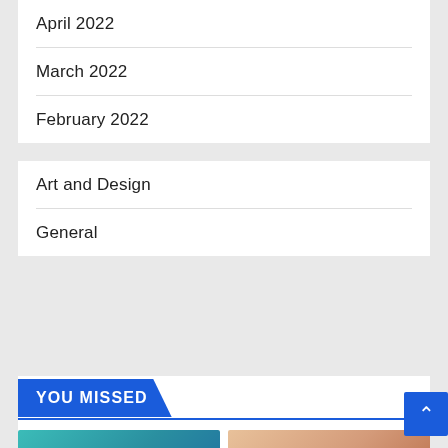April 2022
March 2022
February 2022
Art and Design
General
YOU MISSED